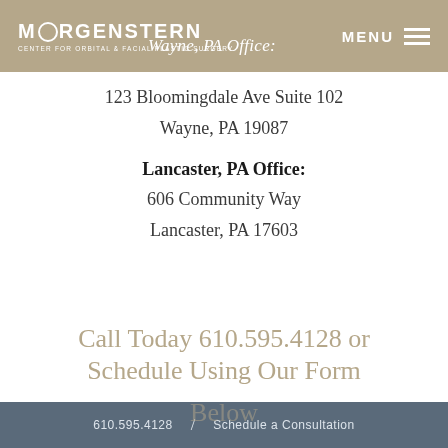MORGENSTERN CENTER FOR ORBITAL & FACIAL PLASTIC SURGERY — Wayne, PA Office: — MENU
123 Bloomingdale Ave Suite 102
Wayne, PA 19087
Lancaster, PA Office:
606 Community Way
Lancaster, PA 17603
Call Today 610.595.4128 or Schedule Using Our Form Below
610.595.4128   /   Schedule a Consultation